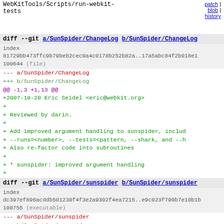WebKitTools/Scripts/run-webkit-tests
patch | blob | history
diff --git a/SunSpider/ChangeLog b/SunSpider/ChangeLog
index 81729bb473ffc9b79beb2cec0a4c0178b252b82a..17a5abc84f2b018e1 100644 (file)
--- a/SunSpider/ChangeLog
+++ b/SunSpider/ChangeLog
@@ -1,3 +1,13 @@
+2007-10-20  Eric Seidel  <eric@webkit.org>
+
+        Reviewed by darin.
+
+        Add improved argument handling to sunspider, includ
+        --runs=<number>, --tests=<pattern, --shark, and --h
+        Also re-factor code into subroutines
+
+        * sunspider: improved argument handling
+
 2007-10-20  Maciej Stachowiak  <mjs@apple.com>

        Reviewed by Mark.
diff --git a/SunSpider/sunspider b/SunSpider/sunspider
index dc397ef896acddb501230f4f3e2a9302f4ea7215..e9c023f790b7e10b1b 100755 (executable)
--- a/SunSpider/sunspider
+++ b/SunSpider/sunspider